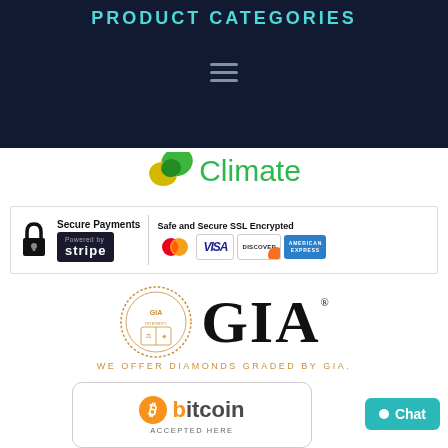PRODUCT CATEGORIES
[Figure (logo): Climate app logo with green leaf icon and text 'Climate']
[Figure (infographic): Secure Payments badge: lock icon, Powered by Stripe, Safe and Secure SSL Encrypted, MasterCard, Visa, Discover, American Express logos]
[Figure (logo): GIA logo with seal and text 'GIA - WE OFFER DIAMONDS GRADED BY GIA.']
[Figure (logo): Bitcoin Accepted Here badge]
[Figure (other): Chat button with teal background]